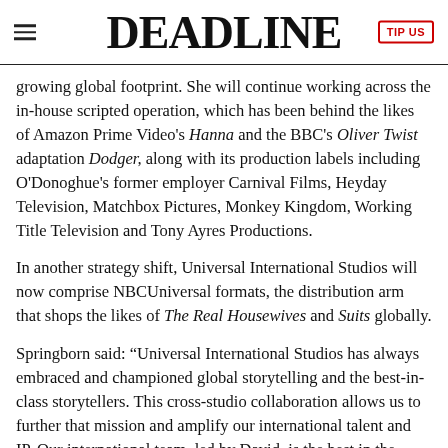DEADLINE
growing global footprint. She will continue working across the in-house scripted operation, which has been behind the likes of Amazon Prime Video's Hanna and the BBC's Oliver Twist adaptation Dodger, along with its production labels including O'Donoghue's former employer Carnival Films, Heyday Television, Matchbox Pictures, Monkey Kingdom, Working Title Television and Tony Ayres Productions.
In another strategy shift, Universal International Studios will now comprise NBCUniversal formats, the distribution arm that shops the likes of The Real Housewives and Suits globally.
Springborn said: “Universal International Studios has always embraced and championed global storytelling and the best-in-class storytellers. This cross-studio collaboration allows us to further that mission and amplify our international talent and IP. Our international team, led by David, is the best in the business. So I